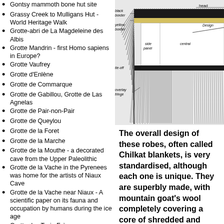Gontsy mammoth bone hut site
Grassy Creek to Mulligans Hut - World Heritage Walk
Grotte-abri de La Magdeleine des Albis
Grotte Mandrin - first Homo sapiens in Europe?
Grotte Vaufrey
Grotte d'Enlène
Grotte de Commarque
Grotte de Gabillou, Grotte de Las Agnelas
Grotte de Pair-non-Pair
Grotte de Queylou
Grotte de la Foret
Grotte de la Marche
Grotte de la Mouthe - a decorated cave from the Upper Paleolithic
Grotte de la Vache in the Pyrenees was home for the artists of Niaux Cave
Grotte de la Vache near Niaux - A scientific paper on its fauna and occupation by humans during the ice age
Grotte des Trois-Frères
Grotte du Grand Roc
Grottes du Pape, Brassempouy
Grottes et Abris-sous-Roche Français et Espagnols
[Figure (engineering-diagram): Diagram of a Chilkat blanket/robe corner showing labeled parts: black border, yellow border, tie-off, overlay fringe, side panel, central panel, design area, heading area with decorative fringe detail.]
The overall design of these robes, often called Chilkat blankets, is very standardised, although each one is unique. They are superbly made, with mountain goat's wool completely covering a core of shredded and twisted